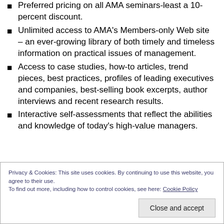Preferred pricing on all AMA seminars-least a 10-percent discount.
Unlimited access to AMA's Members-only Web site – an ever-growing library of both timely and timeless information on practical issues of management.
Access to case studies, how-to articles, trend pieces, best practices, profiles of leading executives and companies, best-selling book excerpts, author interviews and recent research results.
Interactive self-assessments that reflect the abilities and knowledge of today's high-value managers.
Privacy & Cookies: This site uses cookies. By continuing to use this website, you agree to their use. To find out more, including how to control cookies, see here: Cookie Policy